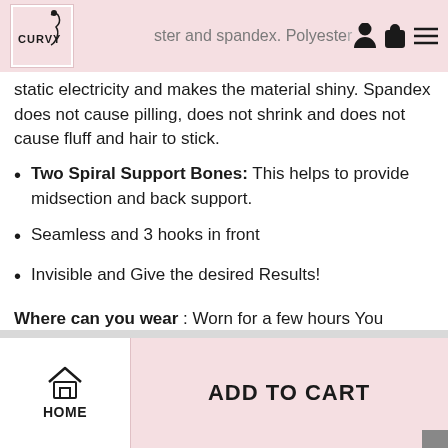CURVY [logo] ster and spandex. Polyeste presents [icons]
static electricity and makes the material shiny. Spandex does not cause pilling, does not shrink and does not cause fluff and hair to stick.
Two Spiral Support Bones: This helps to provide midsection and back support.
Seamless and 3 hooks in front
Invisible and Give the desired Results!
Where can you wear : Worn for a few hours You
HOME   ADD TO CART